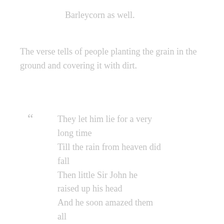Barleycorn as well.
The verse tells of people planting the grain in the ground and covering it with dirt.
“ They let him lie for a very long time
Till the rain from heaven did fall
Then little Sir John he raised up his head
And he soon amazed them all
They let him lie till the long midsummer
Till he looked both pale and